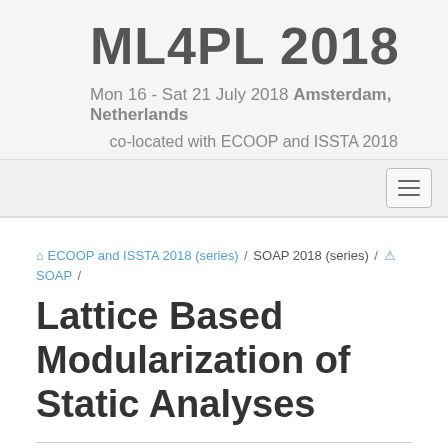ML4PL 2018
Mon 16 - Sat 21 July 2018 Amsterdam, Netherlands
co-located with ECOOP and ISSTA 2018
ECOOP and ISSTA 2018 (series) / SOAP 2018 (series) / SOAP /
Lattice Based Modularization of Static Analyses
Who
Michael Eichberg, Florian Kühler, Dominik Helm, Michael Reif